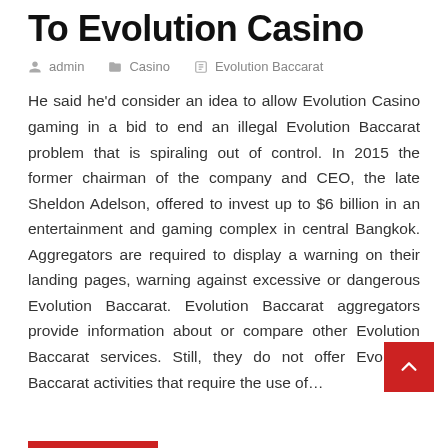To Evolution Casino
admin   Casino   Evolution Baccarat
He said he'd consider an idea to allow Evolution Casino gaming in a bid to end an illegal Evolution Baccarat problem that is spiraling out of control. In 2015 the former chairman of the company and CEO, the late Sheldon Adelson, offered to invest up to $6 billion in an entertainment and gaming complex in central Bangkok. Aggregators are required to display a warning on their landing pages, warning against excessive or dangerous Evolution Baccarat. Evolution Baccarat aggregators provide information about or compare other Evolution Baccarat services. Still, they do not offer Evolution Baccarat activities that require the use of...